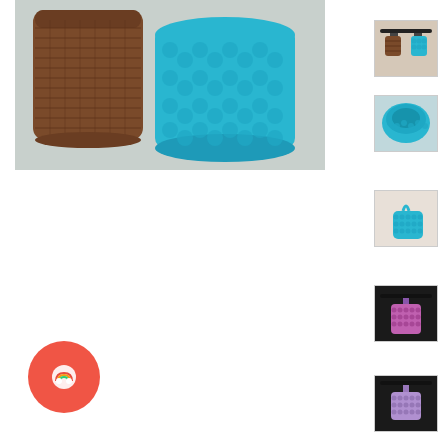[Figure (photo): Main product photo showing a brown woven basket and a blue chunky crochet hanging basket side by side on a light background]
[Figure (photo): Thumbnail: both baskets hanging from a black rod/rail]
[Figure (photo): Thumbnail: close-up of the blue crochet basket from above]
[Figure (photo): Thumbnail: side view of the blue crochet basket with handle]
[Figure (photo): Thumbnail: purple/pink crochet hanging basket hanging from a black rod]
[Figure (photo): Thumbnail: light purple/lavender crochet hanging basket on dark background]
[Figure (logo): Circular coral/red button with a rainbow icon]